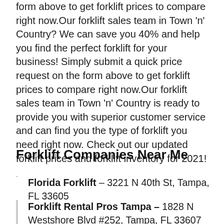form above to get forklift prices to compare right now.Our forklift sales team in Town 'n' Country? We can save you 40% and help you find the perfect forklift for your business! Simply submit a quick price request on the form above to get forklift prices to compare right now.Our forklift sales team in Town 'n' Country is ready to provide you with superior customer service and can find you the type of forklift you need right now. Check out our updated forklift prices and forklift inventory for 2021!
Forklift Companies Near Me
Florida Forklift – 3221 N 40th St, Tampa, FL 33605
Forklift Rental Pros Tampa – 1828 N Westshore Blvd #252, Tampa, FL 33607